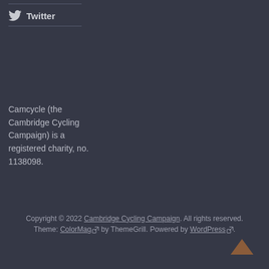Twitter
Camcycle (the Cambridge Cycling Campaign) is a registered charity, no. 1138098.
Copyright © 2022 Cambridge Cycling Campaign. All rights reserved. Theme: ColorMag by ThemeGrill. Powered by WordPress.